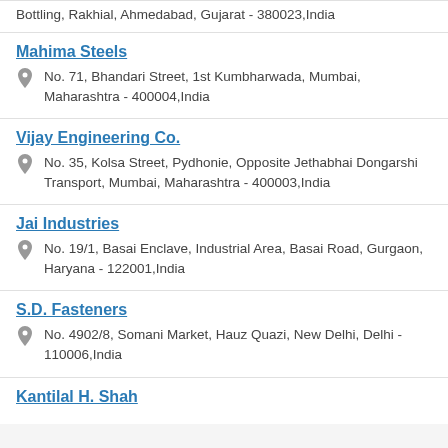Bottling, Rakhial, Ahmedabad, Gujarat - 380023,India
Mahima Steels
No. 71, Bhandari Street, 1st Kumbharwada, Mumbai, Maharashtra - 400004,India
Vijay Engineering Co.
No. 35, Kolsa Street, Pydhonie, Opposite Jethabhai Dongarshi Transport, Mumbai, Maharashtra - 400003,India
Jai Industries
No. 19/1, Basai Enclave, Industrial Area, Basai Road, Gurgaon, Haryana - 122001,India
S.D. Fasteners
No. 4902/8, Somani Market, Hauz Quazi, New Delhi, Delhi - 110006,India
Kantilal H. Shah